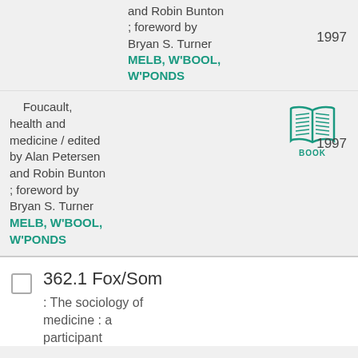and Robin Bunton ; foreword by Bryan S. Turner
MELB, W'BOOL, W'PONDS
1997
Foucault, health and medicine / edited by Alan Petersen and Robin Bunton ; foreword by Bryan S. Turner
[Figure (illustration): Book icon with the label BOOK below it in teal]
1997
MELB, W'BOOL, W'PONDS
362.1 Fox/Som
: The sociology of medicine : a participant